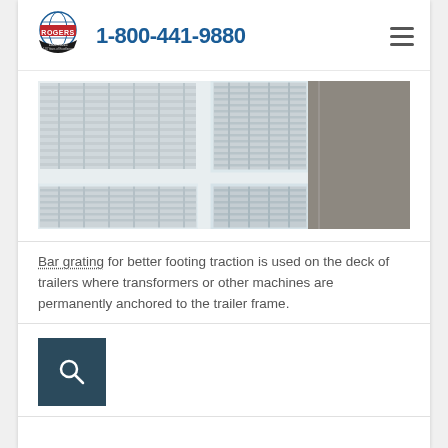1-800-441-9880
[Figure (photo): Close-up photo of metal bar grating panels with grid pattern, viewed from an angle showing multiple sections with white-painted frames]
Bar grating for better footing traction is used on the deck of trailers where transformers or other machines are permanently anchored to the trailer frame.
[Figure (other): Dark teal search button with magnifying glass icon]